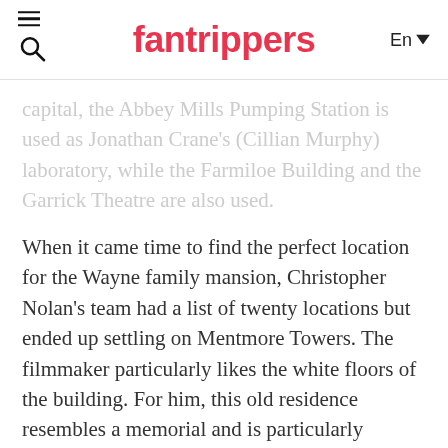fantrippers | En
capital, the Abbey Mills Pumping Station is used as Jonathan Crane's (Cillian Murphy) laboratory, while the Farmiloe Building and the Garrick Theatre are also used.
When it came time to find the perfect location for the Wayne family mansion, Christopher Nolan's team had a list of twenty locations but ended up settling on Mentmore Towers. The filmmaker particularly likes the white floors of the building. For him, this old residence resembles a memorial and is particularly suitable for housing the last survivor of a decimated family in his feature film. No overly